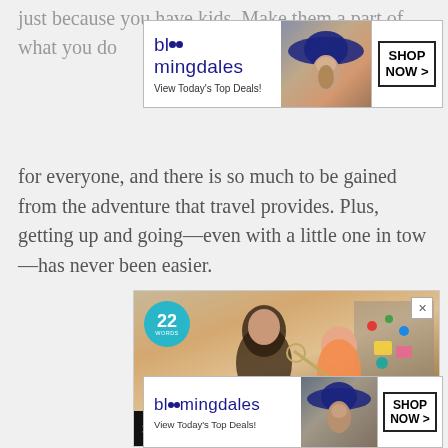just because you have kids. Make them a part of what you do for everyone, and there is so much to be gained from the adventure that travel provides. Plus, getting up and going—even with a little one in tow—has never been easier.
[Figure (screenshot): Bloomingdales advertisement banner with logo, woman in hat image, and 'SHOP NOW >' button]
[Figure (screenshot): Advertisement with '22 Words' badge, mother and daughter baking together photo, and '37 HOME AND KITCHEN' text bar with CLOSE button]
[Figure (screenshot): Bloomingdales bottom advertisement banner with logo, woman in hat image, and 'SHOP NOW >' button]